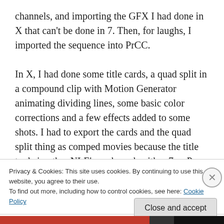channels, and importing the GFX I had done in X that can't be done in 7. Then, for laughs, I imported the sequence into PrCC.

In X, I had done some title cards, a quad split in a compound clip with Motion Generator animating dividing lines, some basic color corrections and a few effects added to some shots. I had to export the cards and the quad split thing as comped movies because the title tools in other NLE's suck, and neither 7 or Pr could easily do the line animation stuff. Certainly possible, but more of a PITA
Privacy & Cookies: This site uses cookies. By continuing to use this website, you agree to their use.
To find out more, including how to control cookies, see here: Cookie Policy
Close and accept